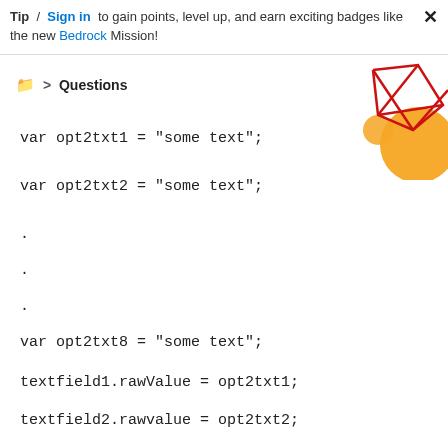Tip / Sign in to gain points, level up, and earn exciting badges like the new Bedrock Mission!
> Questions
[Figure (illustration): Decorative geometric graphic with red triangular shapes and orange circles in the top-right corner]
var opt2txt1 = "some text";
var opt2txt2 = "some text";
.
.
.
var opt2txt8 = "some text";
textfield1.rawValue = opt2txt1;
textfield2.rawvalue = opt2txt2;
.
.